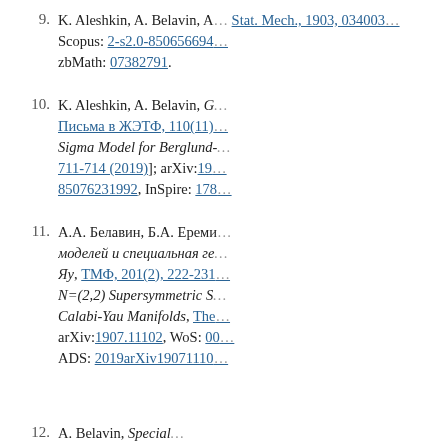9. K. Aleshkin, A. Belavin, A. ... Stat. Mech., 1903, 034003 ... Scopus: 2-s2.0-850656694... zbMath: 07382791.
10. K. Aleshkin, A. Belavin, G... Письма в ЖЭТФ, 110(11)... Sigma Model for Berglund-... 711-714 (2019)]; arXiv:19... 85076231992, InSpire: 178...
11. А.А. Белавин, Б.А. Ереми... моделей и специальная ге... Яу, ТМФ, 201(2), 222-231... N=(2,2) Supersymmetric S... Calabi-Yau Manifolds, The... arXiv:1907.11102, WoS: 00... ADS: 2019arXiv19071110...
12. A. Belavin, Special...